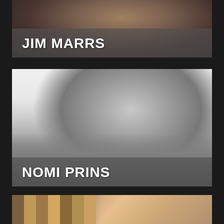[Figure (photo): Portrait photo of Jim Marrs, dark tones, with name overlay]
[Figure (photo): Black and white portrait photo of Nomi Prins, with name overlay]
[Figure (photo): Partial portrait photo of a third person with book spines visible on left side]